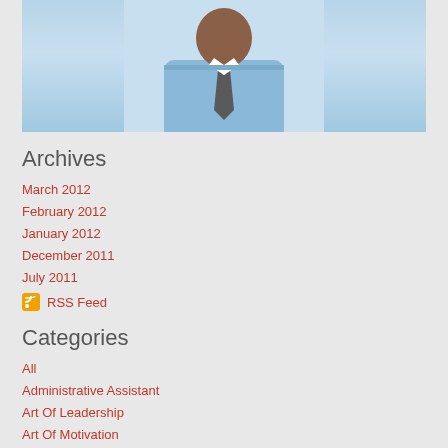[Figure (photo): Partial photo of a man in a light blue shirt and checkered tie, cropped at top]
Archives
March 2012
February 2012
January 2012
December 2011
July 2011
RSS Feed
Categories
All
Administrative Assistant
Art Of Leadership
Art Of Motivation
Change
Change Management